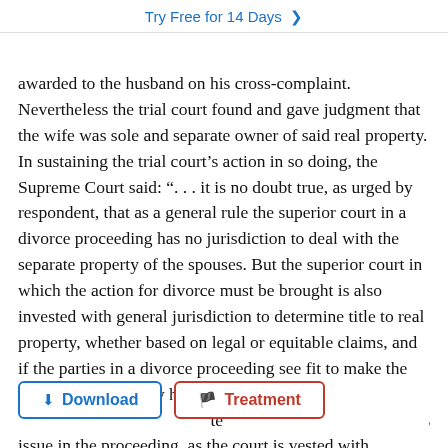Try Free for 14 Days >
awarded to the husband on his cross-complaint. Nevertheless the trial court found and gave judgment that the wife was sole and separate owner of said real property. In sustaining the trial court’s action in so doing, the Supreme Court said: “. . . it is no doubt true, as urged by respondent, that as a general rule the superior court in a divorce proceeding has no jurisdiction to deal with the separate property of the spouses. But the superior court in which the action for divorce must be brought is also invested with general jurisdiction to determine title to real property, whether based on legal or equitable claims, and if the parties in a divorce proceeding see fit to make the character of property held by them – te an issue in the proceeding, as the court is vested with jurisdiction to determine that question, as fully as if the title were